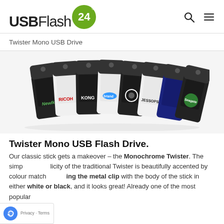[Figure (logo): USBFlash24 logo with green circle containing '24' and registered trademark symbol]
Twister Mono USB Drive
[Figure (photo): Seven Twister Mono USB flash drives fanned out, showing various branding including Newlk, RICOH, KONG, a blue branded drive, a black drive with circular logo, JESSOPS, a dark blue branded drive, and a green Seagate branded drive. Drives have black metal clips and white or black bodies.]
Twister Mono USB Flash Drive.
Our classic stick gets a makeover – the Monochrome Twister. The simplicity of the traditional Twister is beautifully accented by colour matching the metal clip with the body of the stick in either white or black, and it looks great! Already one of the most popular